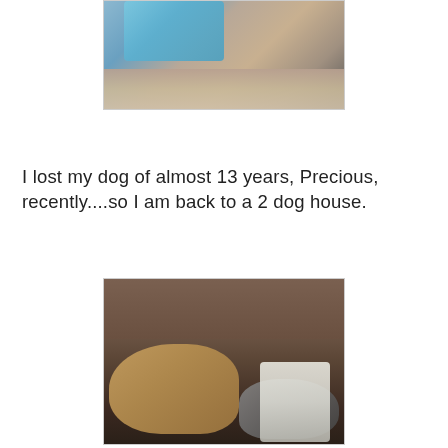[Figure (photo): Partial photo of a blue dog treat/toy package on a granite countertop, cropped at top]
I lost my dog of almost 13 years, Precious, recently....so I am back to a 2 dog house.
[Figure (photo): Two dogs resting on a bed with a wooden headboard and a lamp on the nightstand visible in the background]